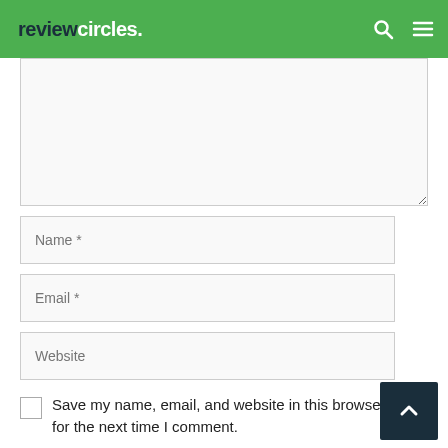reviewcircles.
[Figure (screenshot): Comment form textarea (large empty text area with resize handle)]
Name *
Email *
Website
Save my name, email, and website in this browser for the next time I comment.